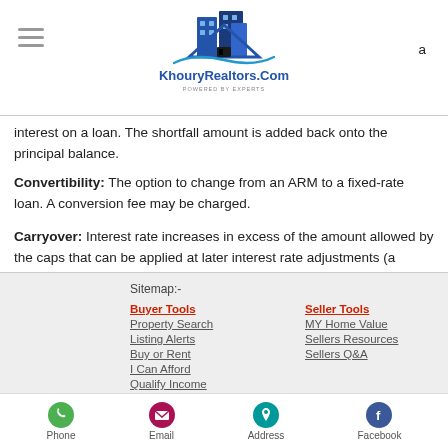KhouryRealtors.Com — POWERED BY EXPERTS
interest on a loan. The shortfall amount is added back onto the principal balance.
Convertibility: The option to change from an ARM to a fixed-rate loan. A conversion fee may be charged.
Carryover: Interest rate increases in excess of the amount allowed by the caps that can be applied at later interest rate adjustments (a component that most newer ARMs are deleting).
Sitemap:-
Buyer Tools
Property Search
Listing Alerts
Buy or Rent
I Can Afford
Qualify Income
Seller Tools
MY Home Value
Sellers Resources
Sellers Q&A
Phone | Email | Address | Facebook